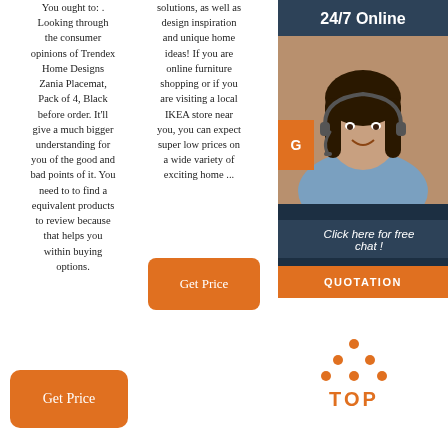You ought to: . Looking through the consumer opinions of Trendex Home Designs Zania Placemat, Pack of 4, Black before order. It'll give a much bigger understanding for you of the good and bad points of it. You need to to find a equivalent products to review because that helps you within buying options.
solutions, as well as design inspiration and unique home ideas! If you are online furniture shopping or if you are visiting a local IKEA store near you, you can expect super low prices on a wide variety of exciting home ...
site usage and maintenance data, and to make the site work correctly for browsing and tra...
[Figure (photo): Customer service representative woman with headset, on dark navy background with '24/7 Online' header text and 'Click here for free chat!' text below]
24/7 Online
Click here for free chat !
QUOTATION
[Figure (logo): Orange dots forming a triangle/arrow pointing up, above the text 'TOP' in orange letters]
Get Price
Get Price